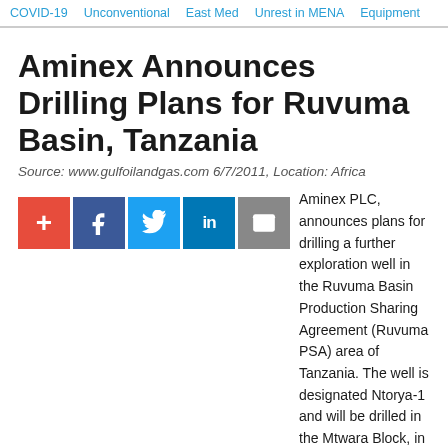COVID-19  Unconventional  East Med  Unrest in MENA  Equipment
Aminex Announces Drilling Plans for Ruvuma Basin, Tanzania
Source: www.gulfoilandgas.com 6/7/2011, Location: Africa
Aminex PLC, announces plans for drilling a further exploration well in the Ruvuma Basin Production Sharing Agreement (Ruvuma PSA) area of Tanzania. The well is designated Ntorya-1 and will be drilled in the Mtwara Block, in the southern part of the Ruvuma PSA. Partners in the well are Tullow Oil (operator - 50%), Aminex (37.5%) and Solo Oil (12.5%).
In 2010 the joint venture drilled the Likonde-1 well in the Lindi Block, which forms the northern part of the Ruvuma PSA. Likonde-1 reached a total depth of 3,647 metres and intersected